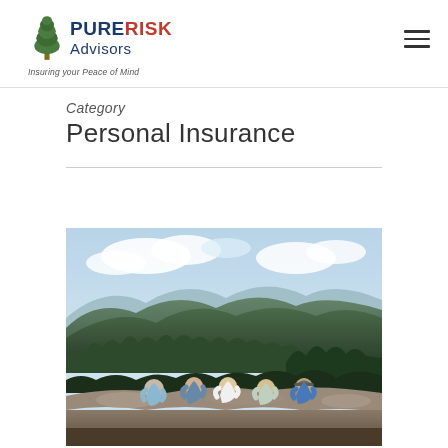PURERISK Advisors — Insuring your Peace of Mind
Category
Personal Insurance
[Figure (photo): Five people sitting on rocks at a scenic mountain overlook, viewed from behind, with forested mountains and cloudy sky in background.]